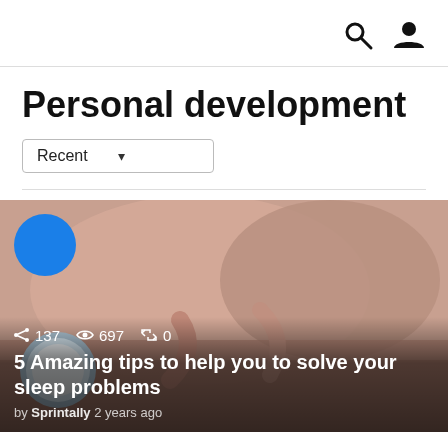[search icon] [user icon]
Personal development
Recent ▾
[Figure (photo): Person lying in bed hugging pillows with a blue alarm clock visible, representing sleep problems. A blue circle appears top-left overlay.]
137 697 0
5 Amazing tips to help you to solve your sleep problems
by Sprintally 2 years ago